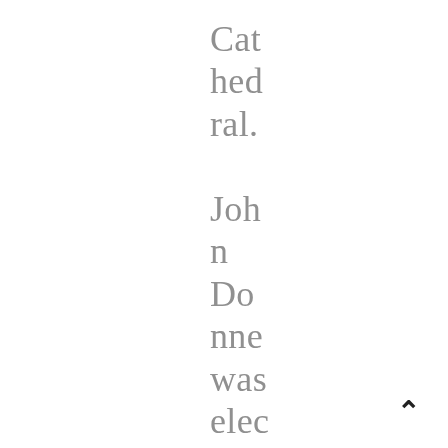Cathedral. John Donne was elected and
[Figure (other): Up/back navigation arrow (chevron pointing upward) in the bottom-right corner]